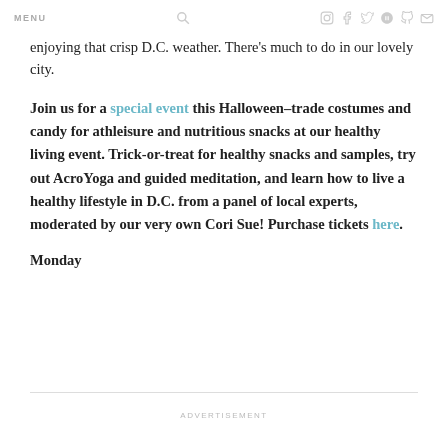MENU [icons: search, instagram, facebook, twitter, pinterest, foursquare, youtube, email]
enjoying that crisp D.C. weather. There's much to do in our lovely city.
Join us for a special event this Halloween–trade costumes and candy for athleisure and nutritious snacks at our healthy living event. Trick-or-treat for healthy snacks and samples, try out AcroYoga and guided meditation, and learn how to live a healthy lifestyle in D.C. from a panel of local experts, moderated by our very own Cori Sue! Purchase tickets here.
Monday
ADVERTISEMENT